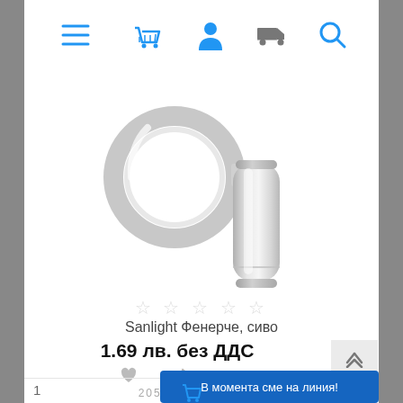[Figure (screenshot): E-commerce product page screenshot showing navigation bar with menu, cart, user, delivery, and search icons]
[Figure (photo): Silver keychain mini flashlight/torch product photo on white background]
☆ ☆ ☆ ☆ ☆
Sanlight Фенерче, сиво
1.69 лв. без ДДС
2050210053
В момента сме на линия!